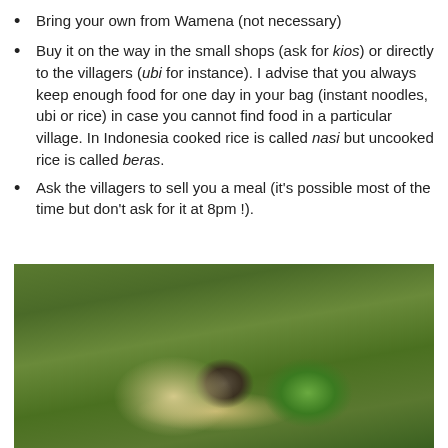Bring your own from Wamena (not necessary)
Buy it on the way in the small shops (ask for kios) or directly to the villagers (ubi for instance). I advise that you always keep enough food for one day in your bag (instant noodles, ubi or rice) in case you cannot find food in a particular village. In Indonesia cooked rice is called nasi but uncooked rice is called beras.
Ask the villagers to sell you a meal (it's possible most of the time but don't ask for it at 8pm !).
[Figure (photo): Food items laid out on a cloth on grass: packaged instant noodles, a dark wrapped ball of food, and a head of cabbage/lettuce, photographed on green grass from above.]